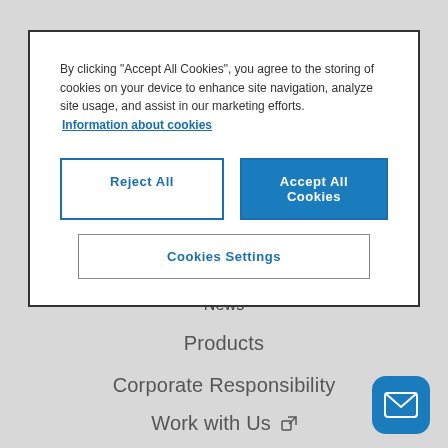By clicking "Accept All Cookies", you agree to the storing of cookies on your device to enhance site navigation, analyze site usage, and assist in our marketing efforts. Information about cookies
Reject All
Accept All Cookies
Cookies Settings
News
Products
Corporate Responsibility
Work with Us
[Figure (illustration): Blue rounded square button with white envelope/mail icon]